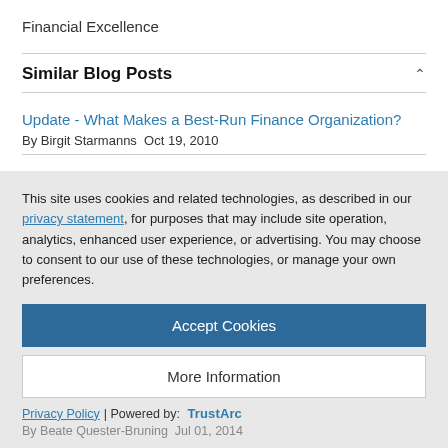Financial Excellence
Similar Blog Posts
Update - What Makes a Best-Run Finance Organization?
By Birgit Starmanns  Oct 19, 2010
SAP Simple Finance launched at SAPPHIRE NOW 2014
By Christian Hersh  Jun 04, 2014
This site uses cookies and related technologies, as described in our privacy statement, for purposes that may include site operation, analytics, enhanced user experience, or advertising. You may choose to consent to our use of these technologies, or manage your own preferences.
Accept Cookies
More Information
Privacy Policy | Powered by: TrustArc
By Beate Quester-Bruning  Jul 01, 2014